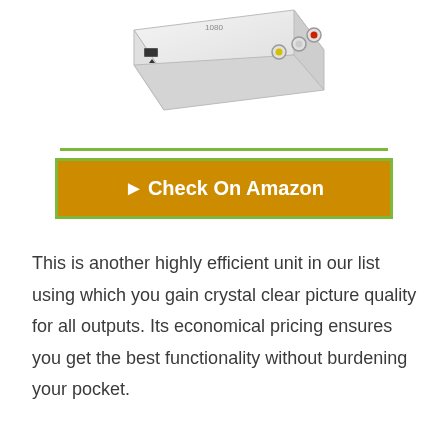[Figure (photo): Photo of a white video converter device with RCA ports and USB/power input, viewed from above at an angle.]
► Check On Amazon
This is another highly efficient unit in our list using which you gain crystal clear picture quality for all outputs. Its economical pricing ensures you get the best functionality without burdening your pocket.